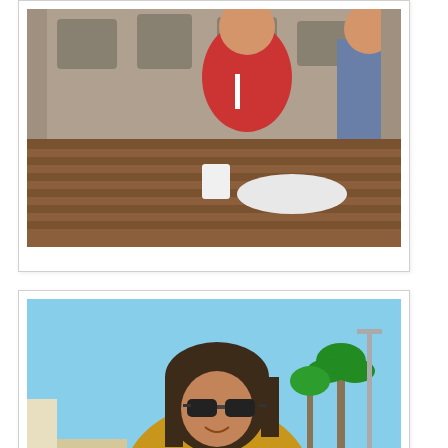[Figure (photo): A woman in a red top with a lanyard sitting at an outdoor wooden table with food and a cup, another person partially visible beside her. Tables and chairs visible in background.]
[Figure (photo): A woman with dark hair wearing sunglasses and a yellow/mustard cardigan sitting at an outdoor table. Blue sky, palm trees, and a light pole visible in the background.]
Every morning Tammy and I have been enjoying breakfast outside on the balcony of our hotel. I just can't get over how nice the weather is. This day it's 26C and feels so nice.
The Conference Center where CHA is held is huge and I